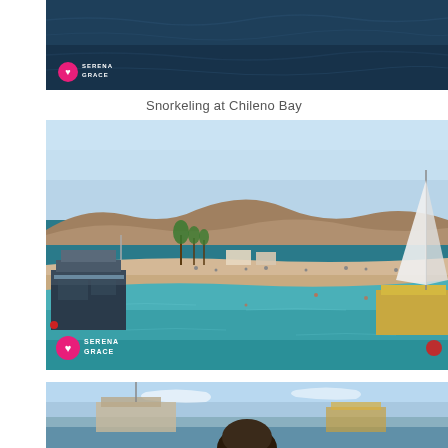[Figure (photo): Aerial/boat view of dark blue ocean water with Serena Grace logo watermark in bottom left corner]
Snorkeling at Chileno Bay
[Figure (photo): Wide panoramic view of Chileno Bay showing turquoise water, sandy beach with people, palm trees, arid hills in background, a tour boat on the left and a catamaran sailboat on the right. Serena Grace logo watermark in bottom left corner.]
[Figure (photo): Partial view of a beach/marina scene with blue sky, boat structures, and a person's head visible in the foreground]